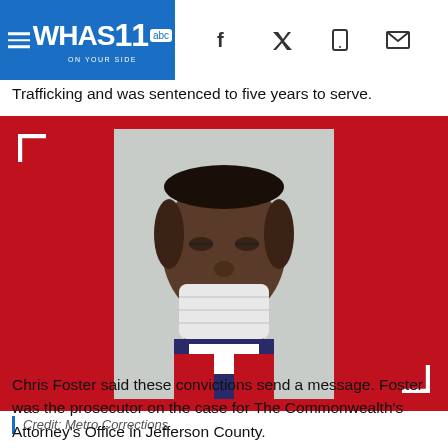WHAS11 abc ON YOUR SIDE
Trafficking and was sentenced to five years to serve.
[Figure (photo): Mugshot of a young Black man wearing a pulled-down white face mask and a red and blue jacket, against a gray background. Displayed on a red background with white bracket corner decorations.]
Credit: Metro Corrections
Chris Foster said these convictions send a message. Foster was the prosecutor on the case for The Commonwealth's Attorney's Office in Jefferson County.